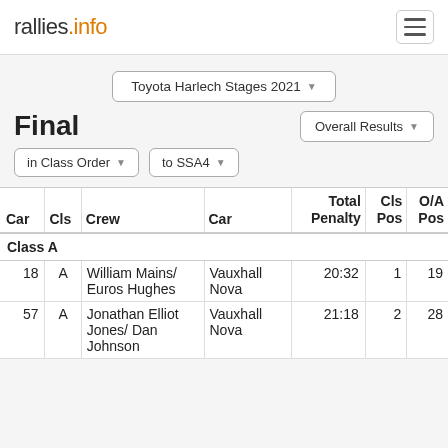rallies.info
Toyota Harlech Stages 2021
Final
Overall Results
in Class Order
to SSA4
| Car | Cls | Crew | Car | Total Penalty | Cls Pos | O/A Pos |
| --- | --- | --- | --- | --- | --- | --- |
| Class A |  |  |  |  |  |  |
| 18 | A | William Mains/ Euros Hughes | Vauxhall Nova | 20:32 | 1 | 19 |
| 57 | A | Jonathan Elliot Jones/ Dan Johnson | Vauxhall Nova | 21:18 | 2 | 28 |